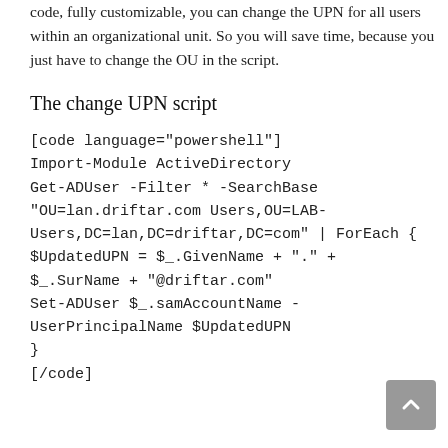code, fully customizable, you can change the UPN for all users within an organizational unit. So you will save time, because you just have to change the OU in the script.
The change UPN script
[code language="powershell"]
Import-Module ActiveDirectory
Get-ADUser -Filter * -SearchBase
"OU=lan.driftar.com Users,OU=LAB-Users,DC=lan,DC=driftar,DC=com" | ForEach {
$UpdatedUPN = $_.GivenName + "." +
$_.SurName + "@driftar.com"
Set-ADUser $_.samAccountName -UserPrincipalName $UpdatedUPN
}
[/code]